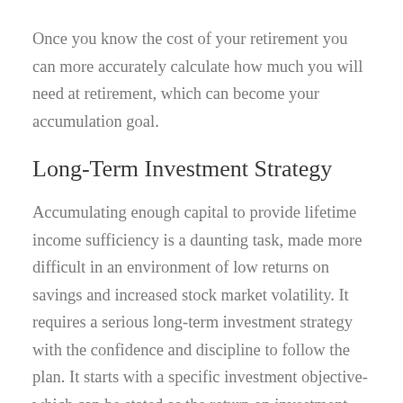Once you know the cost of your retirement you can more accurately calculate how much you will need at retirement, which can become your accumulation goal.
Long-Term Investment Strategy
Accumulating enough capital to provide lifetime income sufficiency is a daunting task, made more difficult in an environment of low returns on savings and increased stock market volatility. It requires a serious long-term investment strategy with the confidence and discipline to follow the plan. It starts with a specific investment objective- which can be stated as the return on investment that must be achieved to meet your capital need.